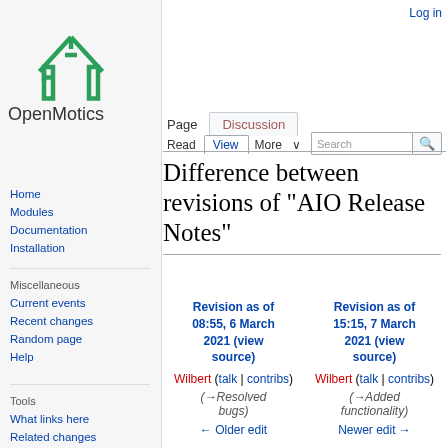[Figure (logo): OpenMotics green logo with circuit board house icon and text 'OpenMotics']
Home
Modules
Documentation
Installation
Miscellaneous
Current events
Recent changes
Random page
Help
Tools
What links here
Related changes
Log in
Difference between revisions of "AIO Release Notes"
| Revision as of 08:55, 6 March 2021 (view source) | Revision as of 15:15, 7 March 2021 (view source) |
| --- | --- |
| Wilbert (talk | contribs) | Wilbert (talk | contribs) |
| (→Resolved bugs) | (→Added functionality) |
| ← Older edit | Newer edit → |